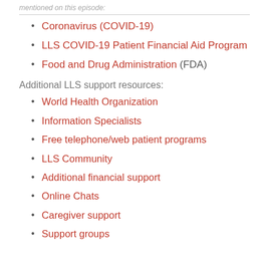Coronavirus (COVID-19)
LLS COVID-19 Patient Financial Aid Program
Food and Drug Administration (FDA)
Additional LLS support resources:
World Health Organization
Information Specialists
Free telephone/web patient programs
LLS Community
Additional financial support
Online Chats
Caregiver support
Support groups